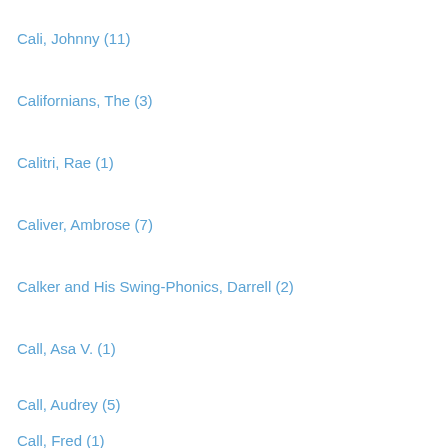Cali, Johnny (11)
Californians, The (3)
Calitri, Rae (1)
Caliver, Ambrose (7)
Calker and His Swing-Phonics, Darrell (2)
Call, Asa V. (1)
Call, Audrey (5)
Call, Fred (1)